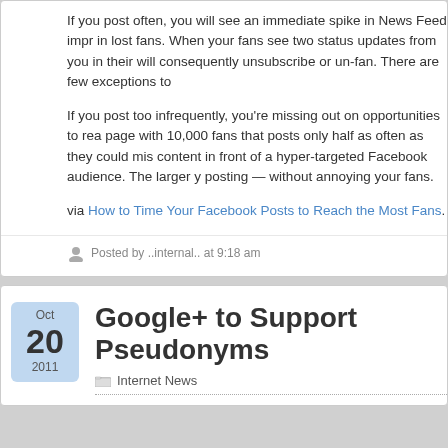If you post often, you will see an immediate spike in News Feed impr in lost fans. When your fans see two status updates from you in their will consequently unsubscribe or un-fan. There are few exceptions to

If you post too infrequently, you're missing out on opportunities to rea page with 10,000 fans that posts only half as often as they could mis content in front of a hyper-targeted Facebook audience. The larger y posting — without annoying your fans.

via How to Time Your Facebook Posts to Reach the Most Fans.
Posted by ..internal.. at 9:18 am
Google+ to Support Pseudonyms
Internet News